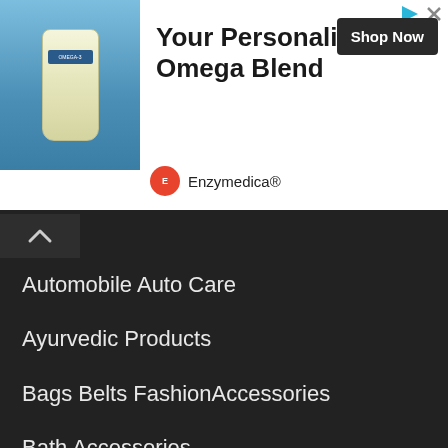[Figure (infographic): Advertisement banner for Enzymedica Omega blend supplement. Shows product bottle image on left, bold headline 'Your Personalized Omega Blend' in center, dark 'Shop Now' button on right, and Enzymedica brand logo with name at bottom left.]
Automobile Auto Care
Ayurvedic Products
Bags Belts FashionAccessories
Bath Accessories
Beauty Parlour
Books Cards Gifts CDs
Bowling Alley
Cameras
Candles Diffusers Incense Potpourri
Cinemas
Clubs